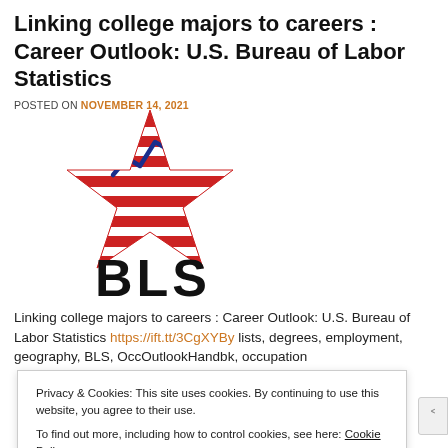Linking college majors to careers : Career Outlook: U.S. Bureau of Labor Statistics
POSTED ON NOVEMBER 14, 2021
[Figure (logo): BLS (Bureau of Labor Statistics) logo with red star and blue line chart graphic above bold BLS lettering]
Linking college majors to careers : Career Outlook: U.S. Bureau of Labor Statistics https://ift.tt/3CgXYBy lists, degrees, employment, geography, BLS, OccOutlookHandbk, occupation
Privacy & Cookies: This site uses cookies. By continuing to use this website, you agree to their use.
To find out more, including how to control cookies, see here: Cookie Policy
Close and accept